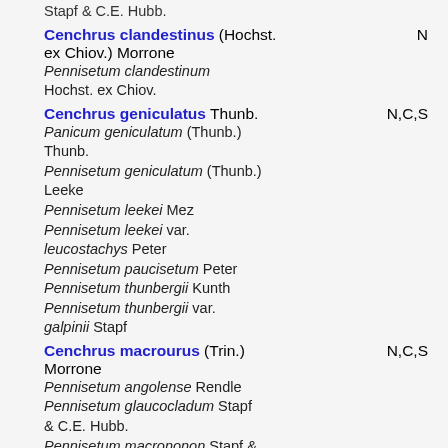Stapf & C.E. Hubb.
Cenchrus clandestinus (Hochst. ex Chiov.) Morrone — N
Pennisetum clandestinum Hochst. ex Chiov.
Cenchrus geniculatus Thunb. — N,C,S
Panicum geniculatum (Thunb.) Thunb.
Pennisetum geniculatum (Thunb.) Leeke
Pennisetum leekei Mez
Pennisetum leekei var. leucostachys Peter
Pennisetum paucisetum Peter
Pennisetum thunbergii Kunth
Pennisetum thunbergii var. galpinii Stapf
Cenchrus macrourus (Trin.) Morrone — N,C,S
Pennisetum angolense Rendle
Pennisetum glaucocladum Stapf & C.E. Hubb.
Pennisetum macrononon Stapf &